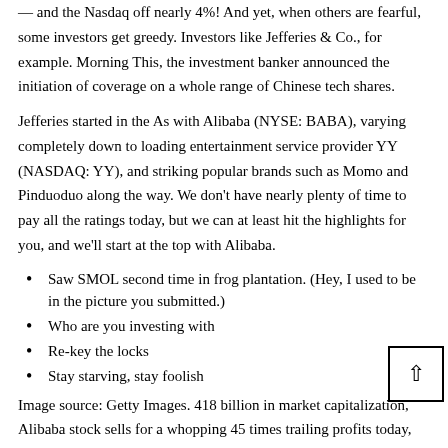— and the Nasdaq off nearly 4%! And yet, when others are fearful, some investors get greedy. Investors like Jefferies & Co., for example. Morning This, the investment banker announced the initiation of coverage on a whole range of Chinese tech shares.
Jefferies started in the As with Alibaba (NYSE: BABA), varying completely down to loading entertainment service provider YY (NASDAQ: YY), and striking popular brands such as Momo and Pinduoduo along the way. We don't have nearly plenty of time to pay all the ratings today, but we can at least hit the highlights for you, and we'll start at the top with Alibaba.
Saw SMOL second time in frog plantation. (Hey, I used to be in the picture you submitted.)
Who are you investing with
Re-key the locks
Stay starving, stay foolish
Image source: Getty Images. 418 billion in market capitalization, Alibaba stock sells for a whopping 45 times trailing profits today, and as such, probably is not a stock you will discover on many value traders' shop lists. Within the last five years, Alibaba has grown its revenue at a